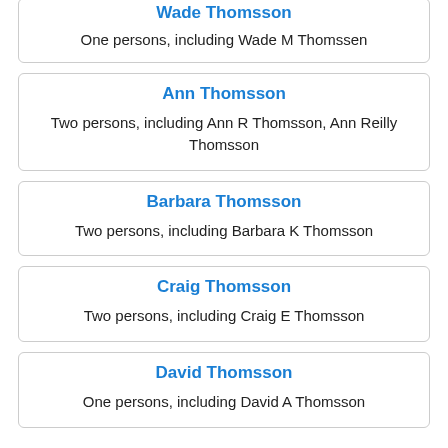Wade Thomsson (partial, top of page)
One persons, including Wade M Thomssen
Ann Thomsson
Two persons, including Ann R Thomsson, Ann Reilly Thomsson
Barbara Thomsson
Two persons, including Barbara K Thomsson
Craig Thomsson
Two persons, including Craig E Thomsson
David Thomsson
One persons, including David A Thomsson